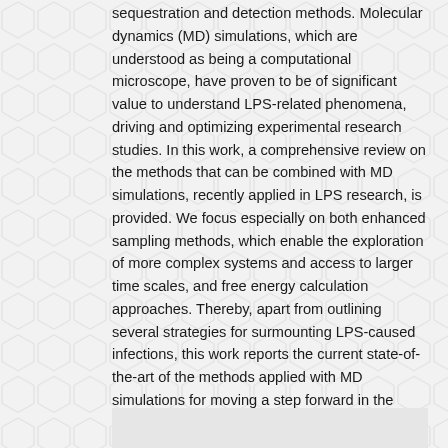sequestration and detection methods. Molecular dynamics (MD) simulations, which are understood as being a computational microscope, have proven to be of significant value to understand LPS-related phenomena, driving and optimizing experimental research studies. In this work, a comprehensive review on the methods that can be combined with MD simulations, recently applied in LPS research, is provided. We focus especially on both enhanced sampling methods, which enable the exploration of more complex systems and access to larger time scales, and free energy calculation approaches. Thereby, apart from outlining several strategies for surmounting LPS-caused infections, this work reports the current state-of-the-art of the methods applied with MD simulations for moving a step forward in the development of such strategies.